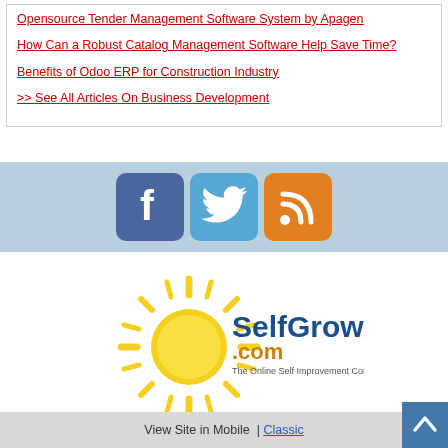Opensource Tender Management Software System by Apagen
How Can a Robust Catalog Management Software Help Save Time?
Benefits of Odoo ERP for Construction Industry
>> See All Articles On Business Development
[Figure (logo): Social media icons: Facebook (blue rounded square with f), Twitter (light blue rounded square with bird), RSS (orange rounded square with wifi-style icon)]
[Figure (logo): SelfGrowth.com logo — yellow sun with rays surrounding a blue and gold wordmark 'SelfGrowth.com' and tagline 'The Online Self Improvement Community']
View Site in Mobile  |  Classic